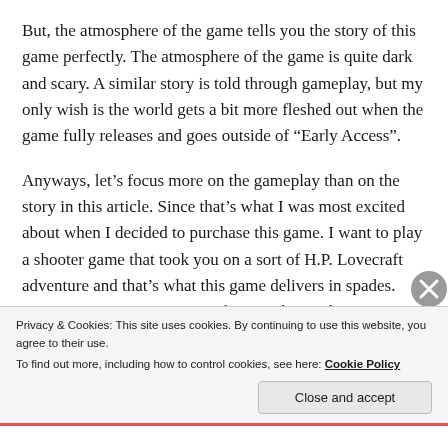But, the atmosphere of the game tells you the story of this game perfectly. The atmosphere of the game is quite dark and scary. A similar story is told through gameplay, but my only wish is the world gets a bit more fleshed out when the game fully releases and goes outside of “Early Access”.
Anyways, let’s focus more on the gameplay than on the story in this article. Since that’s what I was most excited about when I decided to purchase this game. I want to play a shooter game that took you on a sort of H.P. Lovecraft adventure and that’s what this game delivers in spades. You encounter various nasty demons that each
Privacy & Cookies: This site uses cookies. By continuing to use this website, you agree to their use.
To find out more, including how to control cookies, see here: Cookie Policy
Close and accept